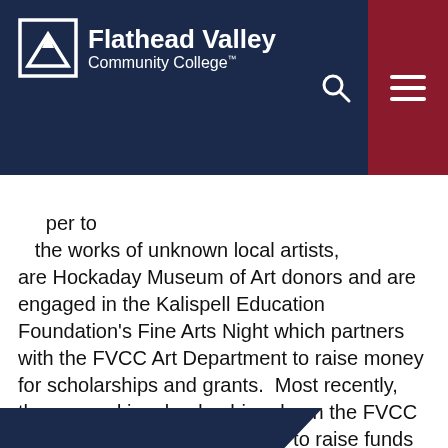[Figure (logo): Flathead Valley Community College logo with mountain/diamond icon and white text on navy background with hamburger menu and search icon]
…open to the works of unknown local artists, are Hockaday Museum of Art donors and are engaged in the Kalispell Education Foundation's Fine Arts Night which partners with the FVCC Art Department to raise money for scholarships and grants. Most recently, they served in a leadership role on the FVCC Foundation's capital campaign to raise funds to complete the college's new Rebecca Chaney Broussard Center for Nursing and Health Science.
“Throughout their generous contributions of time, talent and treasure, they have continued to focus passion for the work driving this…